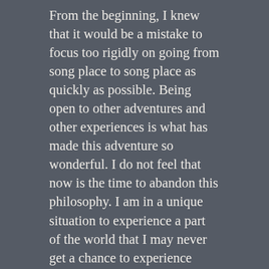From the beginning, I knew that it would be a mistake to focus too rigidly on going from song place to song place as quickly as possible. Being open to other adventures and other experiences is what has made this adventure so wonderful. I do not feel that now is the time to abandon this philosophy. I am in a unique situation to experience a part of the world that I may never get a chance to experience again and I don't feel like passing that up.
Let's talk about what this means functionally. From where I sit here in Cordoba, I have around 5,000 miles left to complete the song